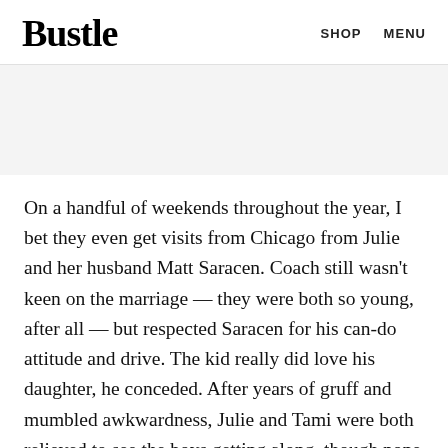Bustle   SHOP   MENU
[Figure (other): Gray placeholder image area]
On a handful of weekends throughout the year, I bet they even get visits from Chicago from Julie and her husband Matt Saracen. Coach still wasn't keen on the marriage — they were both so young, after all — but respected Saracen for his can-do attitude and drive. The kid really did love his daughter, he conceded. After years of gruff and mumbled awkwardness, Julie and Tami were both relieved to see the boys getting along, though none maybe so relieved as Matt. He